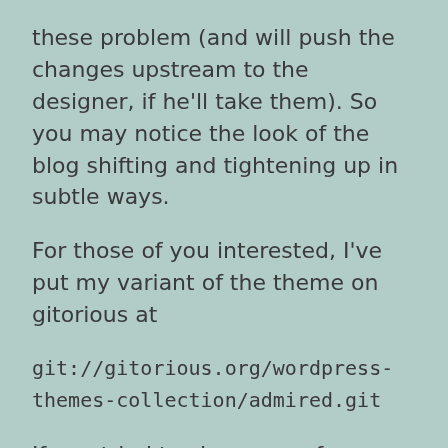these problem (and will push the changes upstream to the designer, if he'll take them). So you may notice the look of the blog shifting and tightening up in subtle ways.
For those of you interested, I've put my variant of the theme on gitorious at
git://gitorious.org/wordpress-themes-collection/admired.git
If you tried to clone one of my previous theme repos and got a permissions failure, it's